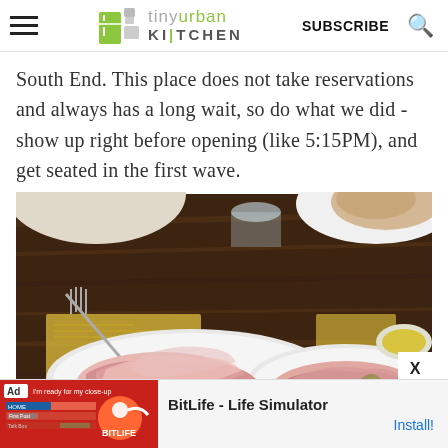tiny urban KITCHEN | SUBSCRIBE
South End. This place does not take reservations and always has a long wait, so do what we did - show up right before opening (like 5:15PM), and get seated in the first wave.
[Figure (photo): Overhead view of two white plates of sliced Italian cured meats (prosciutto/charcuterie) on a dark wood table, with a fork, bread plate, and small bowl of olive oil visible.]
[Figure (screenshot): Mobile advertisement for BitLife - Life Simulator app with red background, showing 'Ad' tag and 'Install!' call to action button.]